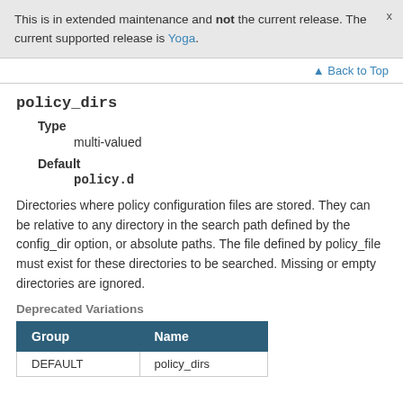This is in extended maintenance and not the current release. The current supported release is Yoga.
Back to Top
policy_dirs
Type
multi-valued
Default
policy.d
Directories where policy configuration files are stored. They can be relative to any directory in the search path defined by the config_dir option, or absolute paths. The file defined by policy_file must exist for these directories to be searched. Missing or empty directories are ignored.
Deprecated Variations
| Group | Name |
| --- | --- |
| DEFAULT | policy_dirs |